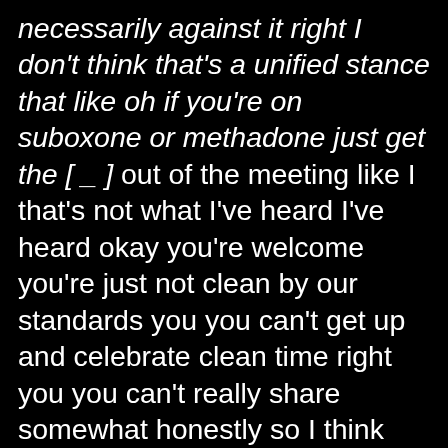necessarily against it right I don't think that's a unified stance that like oh if you're on suboxone or methadone just get the [ _ ] out of the meeting like I that's not what I've heard I've heard okay you're welcome you're just not clean by our standards you you can't get up and celebrate clean time right you you can't really share somewhat honestly so I think that's the interesting point that people who are on suboxone or methadone are probably looking for a place to participate and we're not really the place for that they're welcome to come but I would say the sentiment of NA is generally no we really don't want you to participate we want you to hang out until you're ready to live like us which is a little you know we're better than you holier than thou like we kind of think we're the next